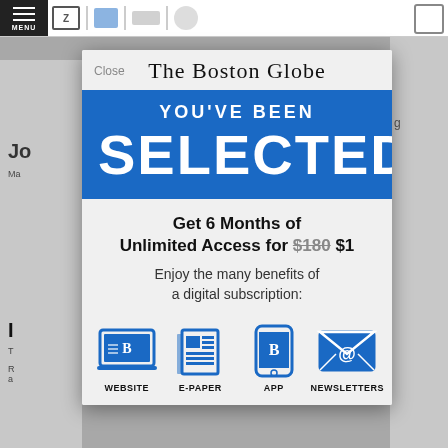[Figure (screenshot): Screenshot of The Boston Globe website with a subscription modal overlay. The modal shows 'YOU'VE BEEN SELECTED' in a blue banner, an offer for 6 Months of Unlimited Access for $180 crossed out and $1, and four benefit icons: Website, E-Paper, App, Newsletters.]
The Boston Globe
YOU'VE BEEN SELECTED
Get 6 Months of Unlimited Access for $180 $1
Enjoy the many benefits of a digital subscription:
WEBSITE  E-PAPER  APP  NEWSLETTERS